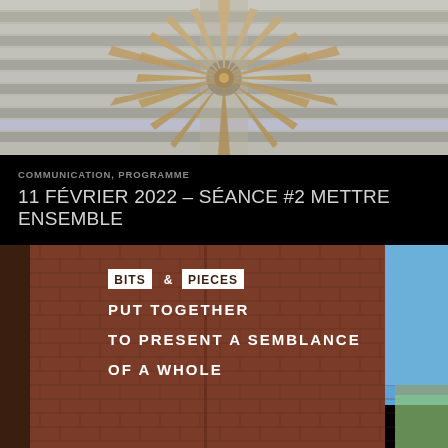[Figure (photo): Architectural sculpture or installation with radiating elongated wooden or metal elements fanning outward in a sunburst pattern against a striped building facade background]
COMMUNICATION, PROGRAMME
11 FÉVRIER 2022 – SÉANCE #2 METTRE ENSEMBLE
[Figure (photo): Brick wall with white painted text reading: BITS & PIECES PUT TOGETHER TO PRESENT A SEMBLANCE OF A WHOLE, with blue sky and a greenhouse visible at right edge]